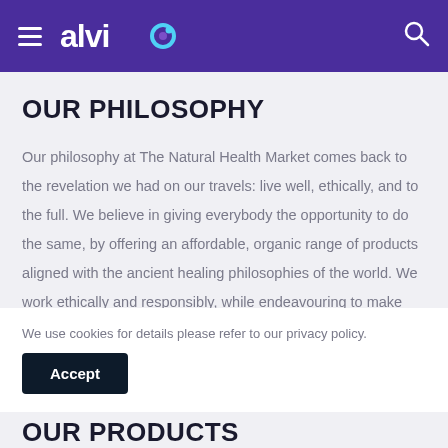alvio
OUR PHILOSOPHY
Our philosophy at The Natural Health Market comes back to the revelation we had on our travels: live well, ethically, and to the full. We believe in giving everybody the opportunity to do the same, by offering an affordable, organic range of products aligned with the ancient healing philosophies of the world. We work ethically and responsibly, while endeavouring to make
We use cookies for details please refer to our privacy policy.
Accept
OUR PRODUCTS